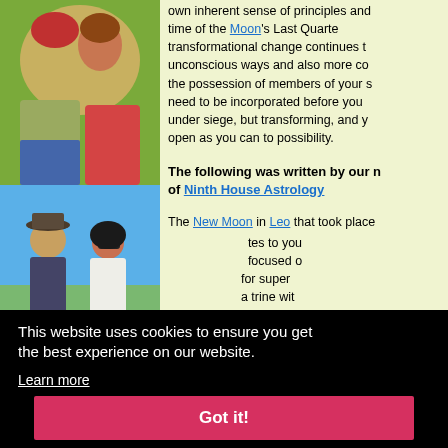[Figure (photo): Two women laughing outdoors with flowers in background]
[Figure (photo): Man and woman walking outdoors, man wearing cowboy hat]
own inherent sense of principles and... time of the Moon's Last Quarte... transformational change continues t... unconscious ways and also more co... the possession of members of your s... need to be incorporated before you... under siege, but transforming, and y... open as you can to possibility.
The following was written by our m... of Ninth House Astrology
The New Moon in Leo that took place... tes to you... focused o... for super... a trine wit... need to fo... a particula... gs are he... or delays... ective infl... ourself ar...
Mars, U... junction p... vitality. This aspect was forming in... degree for the entire August month...
This website uses cookies to ensure you get the best experience on our website.
Learn more
Got it!